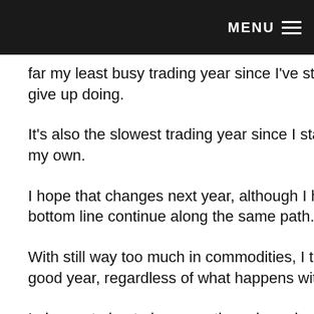MENU ≡
far my least busy trading year since I've started doing what I n give up doing.
It's also the slowest trading year since I started trading, with t my own.
I hope that changes next year, although I hope that the end re bottom line continue along the same path.
With still way too much in commodities, I think that 2017 will b good year, regardless of what happens with the overall marke
I plan on trying to leverage those long dormant positions with possible opportunity in 2017 and trading more and more, eve opening as many new positions.
I also plan to going longer term, as I'm getting a little older an keen about keeping an eye on news and events day d